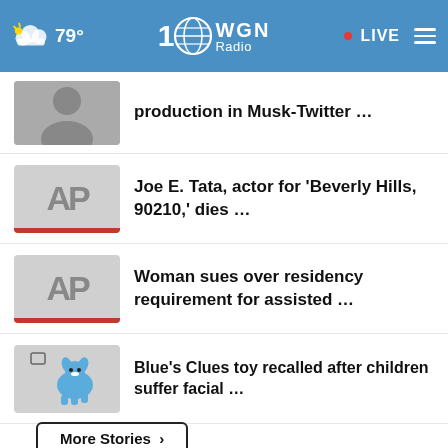79° WGN Radio 100 • LIVE
production in Musk-Twitter …
Joe E. Tata, actor for 'Beverly Hills, 90210,' dies …
Woman sues over residency requirement for assisted …
Blue's Clues toy recalled after children suffer facial …
Pentagon plan aims to help avoid civilian deaths …
More Stories ›